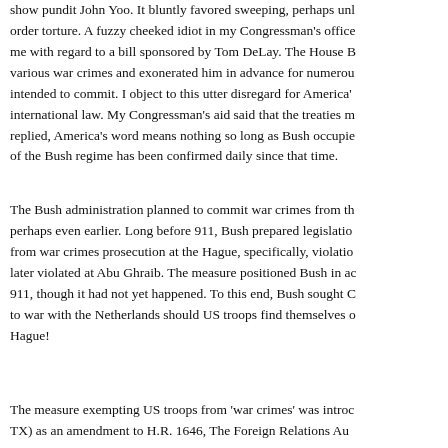show pundit John Yoo. It bluntly favored sweeping, perhaps unl order torture. A fuzzy cheeked idiot in my Congressman's office me with regard to a bill sponsored by Tom DeLay. The House B various war crimes and exonerated him in advance for numerou intended to commit. I object to this utter disregard for America's international law. My Congressman's aid said that the treaties m replied, America's word means nothing so long as Bush occupie of the Bush regime has been confirmed daily since that time.
The Bush administration planned to commit war crimes from th perhaps even earlier. Long before 911, Bush prepared legislation from war crimes prosecution at the Hague, specifically, violatio later violated at Abu Ghraib. The measure positioned Bush in ac 911, though it had not yet happened. To this end, Bush sought C to war with the Netherlands should US troops find themselves o Hague!
The measure exempting US troops from 'war crimes' was introc TX) as an amendment to H.R. 1646, The Foreign Relations Au